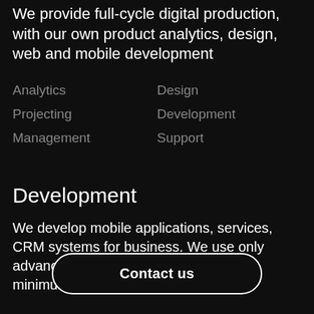We provide full-cycle digital production, with our own product analytics, design, web and mobile development
Analytics
Design
Projecting
Development
Management
Support
Development
We develop mobile applications, services, CRM systems for business. We use only advanced development tools to ensure minimum project costs